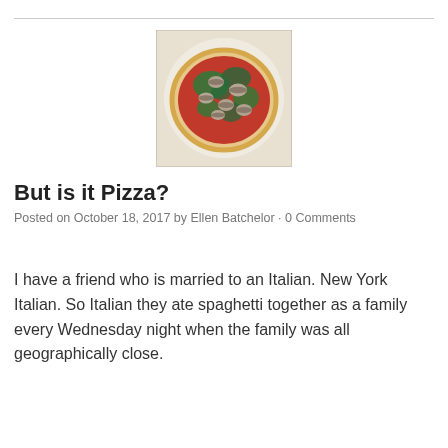[Figure (photo): A pizza topped with mushrooms and spinach/green leaves on a tomato sauce base, photographed from above on a white plate.]
But is it Pizza?
Posted on October 18, 2017 by Ellen Batchelor · 0 Comments
I have a friend who is married to an Italian. New York Italian. So Italian they ate spaghetti together as a family every Wednesday night when the family was all geographically close.